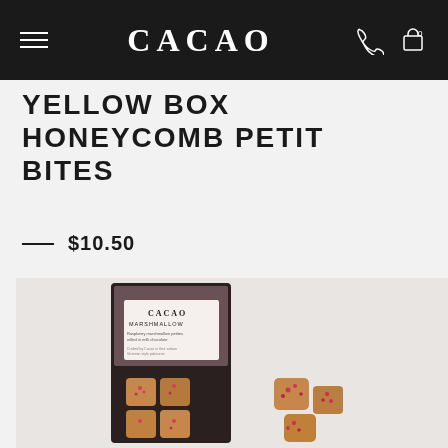CACAO
YELLOW BOX HONEYCOMB PETIT BITES
$10.50
[Figure (photo): Product photo showing a Cacao branded chocolate marshmallow petit bites package and individual chocolate pieces on a light grey background]